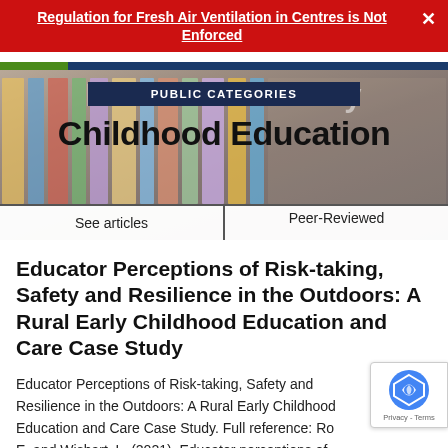Regulation for Fresh Air Ventilation in Centres is Not Enforced
[Figure (screenshot): Hero banner showing bookshelves with text overlay 'Research in Early Childhood Education' and a dark blue 'PUBLIC CATEGORIES' label, with See articles and Peer-Reviewed links at the bottom.]
Educator Perceptions of Risk-taking, Safety and Resilience in the Outdoors: A Rural Early Childhood Education and Care Case Study
Educator Perceptions of Risk-taking, Safety and Resilience in the Outdoors: A Rural Early Childhood Education and Care Case Study. Full reference: Ro E. and Wishart, L. (2021). Educator perceptions of risk-taking, safety and resilience in the outdoors: a